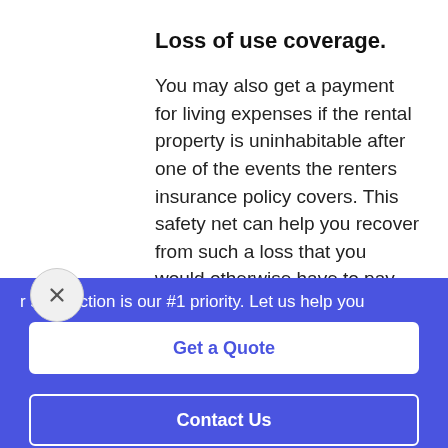Loss of use coverage.
You may also get a payment for living expenses if the rental property is uninhabitable after one of the events the renters insurance policy covers. This safety net can help you recover from such a loss that you would otherwise have to pay for out-of-pocket.
r satisfaction is our #1 priority. Let us help you
Get a Quote
Contact Us